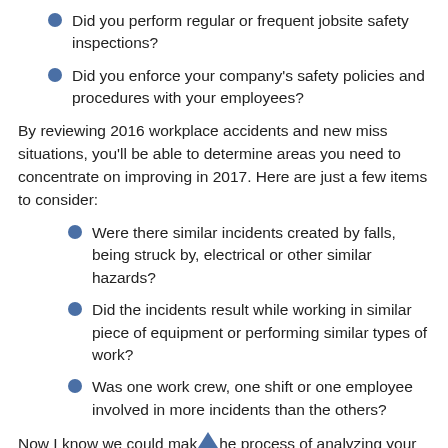Did you perform regular or frequent jobsite safety inspections?
Did you enforce your company's safety policies and procedures with your employees?
By reviewing 2016 workplace accidents and new miss situations, you'll be able to determine areas you need to concentrate on improving in 2017. Here are just a few items to consider:
Were there similar incidents created by falls, being struck by, electrical or other similar hazards?
Did the incidents result while working in similar piece of equipment or performing similar types of work?
Was one work crew, one shift or one employee involved in more incidents than the others?
Now I know we could make the process of analyzing your